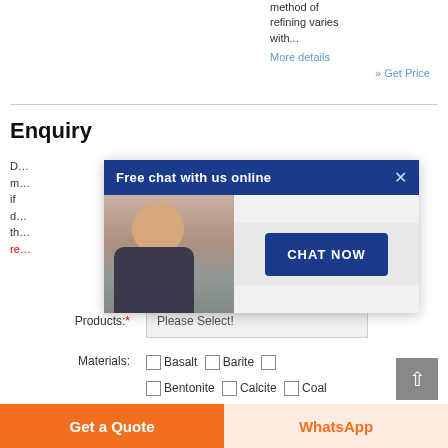method of refining varies with...
More details
» Get Price
Enquiry
D... m... e if... ou d... e th... re...
[Figure (screenshot): Popup dialog with blue header 'Free chat with us online', close X button, photo of customer service representative with headset, and a blue 'CHAT NOW' button on gray background]
Products:* [Please Select!]
Materials: Basalt Barite Bentonite Calcite Coal
Get a Quote
WhatsApp